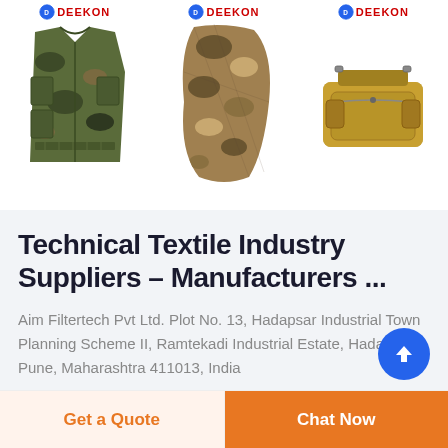[Figure (photo): Three tactical/military product images from DEEKON brand: a camouflage tactical vest on the left, a camouflage scarf/wrap in the center, and a tan waist/fanny pack on the right. Each product has a DEEKON logo above it.]
Technical Textile Industry Suppliers – Manufacturers ...
Aim Filtertech Pvt Ltd. Plot No. 13, Hadapsar Industrial Town Planning Scheme II, Ramtekadi Industrial Estate, Hadapsar, Pune, Maharashtra 411013, India
Get a Quote
Chat Now